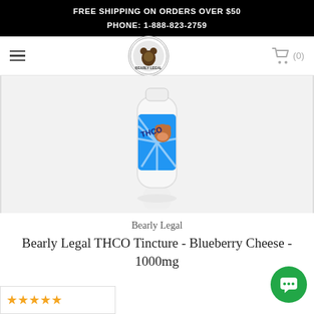FREE SHIPPING ON ORDERS OVER $50
PHONE: 1-888-823-2759
[Figure (logo): Bearly Legal Hemp Co. circular logo with bear icon]
[Figure (photo): White bottle of Bearly Legal THCO tincture with colorful label showing a bear character and blue sunburst design, against a white background]
Bearly Legal
Bearly Legal THCO Tincture - Blueberry Cheese - 1000mg